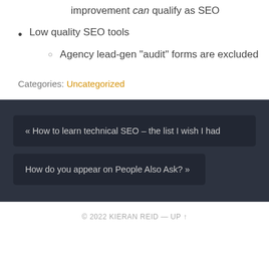improvement can qualify as SEO
Low quality SEO tools
Agency lead-gen “audit” forms are excluded
Categories: Uncategorized
« How to learn technical SEO – the list I wish I had
How do you appear on People Also Ask? »
© 2022 KIERAN REID — UP ↑